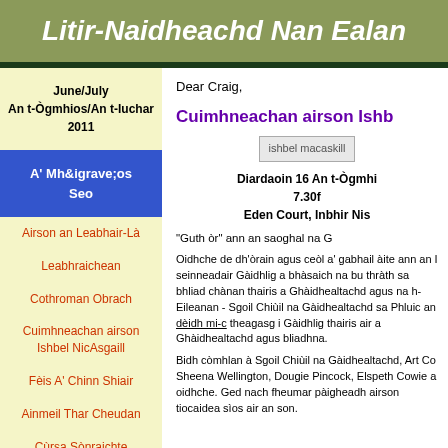Litir-Naidheachd Nan Ealan
June/July
An t-Ògmhios/An t-Iuchar
2011
A' Mh&igrave;os Seo
Airson an Leabhair-Là
Leabhraichean
Cothroman Obrach
Cuimhneachan airson Ishbel NicAsgaill
Fèis A' Chinn Shiair
Ainmeil Thar Cheudan
Cùrsa Sònraichte
Seachdain Bàrdachd
Dear Craig,
Cuimhneachan airson Ishb
[Figure (photo): ishbel macaskill image placeholder]
Diardaoin 16 An t-Ògmhi
7.30f
Eden Court, Inbhir Nis
"Guth òr" ann an saoghal na G
Oidhche de dh'òrain agus ceòl a' gabhail àite ann an I seinneadair Gàidhlig a bhàsaich na bu thràth sa bhliad chànan thairis a Ghàidhealtachd agus na h-Eileanan - Sgoil Chiùil na Gàidhealtachd sa Phluic an dèidh mi-c theagasg i Gàidhlig thairis air a Ghàidhealtachd agus bliadhna.
Bidh còmhlan à Sgoil Chiùil na Gàidhealtachd, Art Co Sheena Wellington, Dougie Pincock, Elspeth Cowie a oidhche. Ged nach fheumar pàigheadh airson tiocaidea sìos air an son.